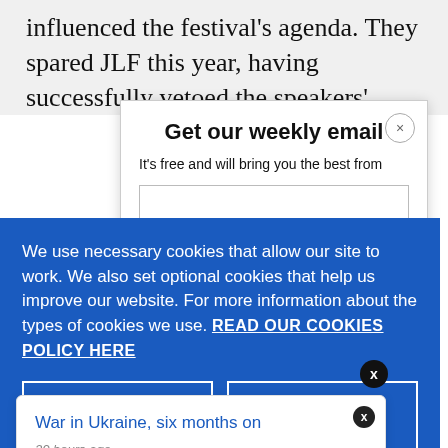influenced the festival's agenda. They spared JLF this year, having successfully vetoed the speakers'
Get our weekly email
It's free and will bring you the best from
We use necessary cookies that allow our site to work. We also set optional cookies that help us improve our website. For more information about the types of cookies we use. READ OUR COOKIES POLICY HERE
COOKIE
ALLOW
War in Ukraine, six months on
20 hours ago
data.
The S